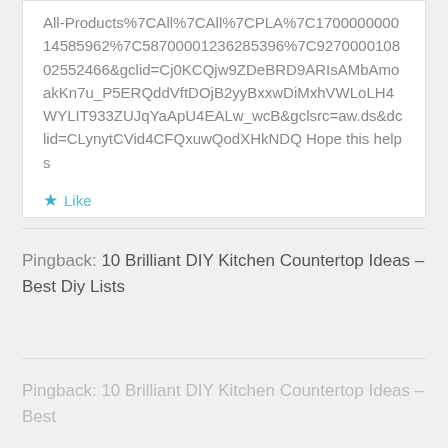All-Products%7CAll%7CAll%7CPLA%7C17000000014585962%7C58700001236285396%7C9270000108025524668&gclid=Cj0KCQjw9ZDeBRD9ARIsAMbAmoakKn7u_P5ERQddVftDOjB2yyBxxwDiMxhVWLoLH4WYLIT933ZUJqYaApU4EALw_wcB&gclsrc=aw.ds&dclid=CLynytCVid4CFQxuwQodXHkNDQ Hope this helps
Like
Pingback: 10 Brilliant DIY Kitchen Countertop Ideas – Best Diy Lists
Pingback: 10 Brilliant DIY Kitchen Countertop Ideas – Best